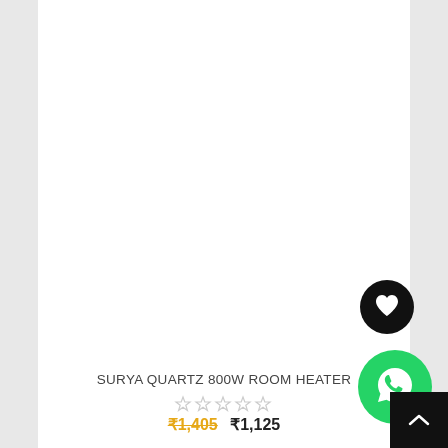[Figure (photo): Product card showing SURYA QUARTZ 800W ROOM HEATER with blank white product image area, wishlist heart button (black circle), WhatsApp button (green circle), star rating, and price]
SURYA QUARTZ 800W ROOM HEATER
☆☆☆☆☆
₹1,405  ₹1,125